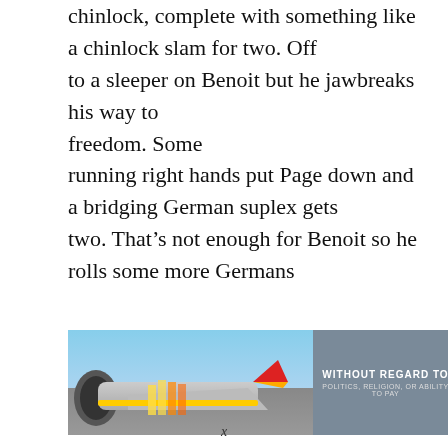chinlock, complete with something like a chinlock slam for two. Off to a sleeper on Benoit but he jawbreaks his way to freedom. Some running right hands put Page down and a bridging German suplex gets two. That's not enough for Benoit so he rolls some more Germans
[Figure (photo): Advertisement banner showing an airplane being loaded with cargo on the left side, and a dark gray panel on the right with text 'WITHOUT REGARD TO POLITICS, RELIGION, OR ABILITY TO PAY']
x